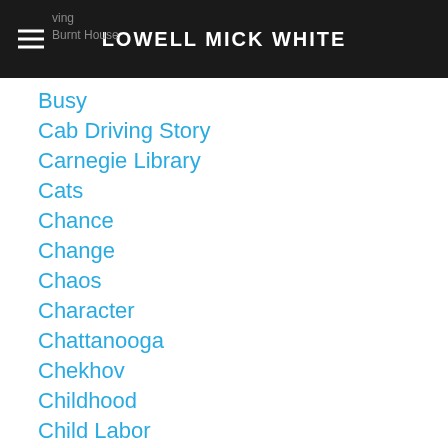LOWELL MICK WHITE
Busy
Cab Driving Story
Carnegie Library
Cats
Chance
Change
Chaos
Character
Chattanooga
Chekhov
Childhood
Child Labor
Christmas
Chuck Taylor
Cicadas
Civil War